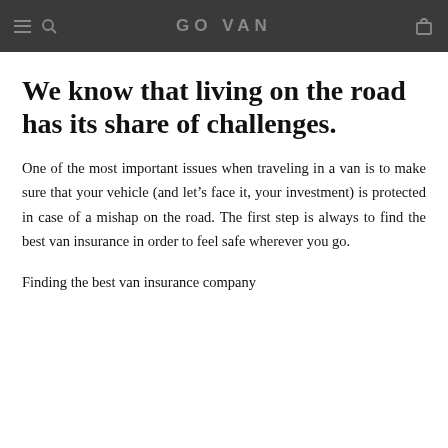GO VAN
We know that living on the road has its share of challenges.
One of the most important issues when traveling in a van is to make sure that your vehicle (and let's face it, your investment) is protected in case of a mishap on the road. The first step is always to find the best van insurance in order to feel safe wherever you go.
Finding the best van insurance company